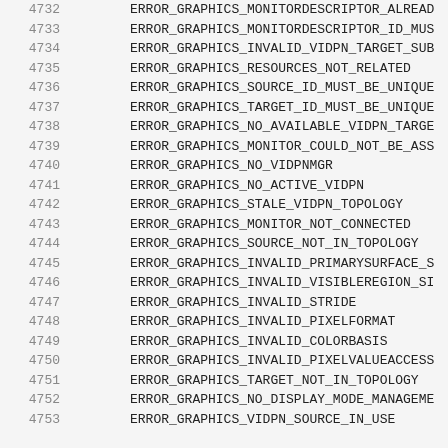| Code | Constant |
| --- | --- |
| 4732 | ERROR_GRAPHICS_MONITORDESCRIPTOR_ALREADY |
| 4733 | ERROR_GRAPHICS_MONITORDESCRIPTOR_ID_MUS |
| 4734 | ERROR_GRAPHICS_INVALID_VIDPN_TARGET_SUB |
| 4735 | ERROR_GRAPHICS_RESOURCES_NOT_RELATED |
| 4736 | ERROR_GRAPHICS_SOURCE_ID_MUST_BE_UNIQUE |
| 4737 | ERROR_GRAPHICS_TARGET_ID_MUST_BE_UNIQUE |
| 4738 | ERROR_GRAPHICS_NO_AVAILABLE_VIDPN_TARGE |
| 4739 | ERROR_GRAPHICS_MONITOR_COULD_NOT_BE_ASS |
| 4740 | ERROR_GRAPHICS_NO_VIDPNMGR |
| 4741 | ERROR_GRAPHICS_NO_ACTIVE_VIDPN |
| 4742 | ERROR_GRAPHICS_STALE_VIDPN_TOPOLOGY |
| 4743 | ERROR_GRAPHICS_MONITOR_NOT_CONNECTED |
| 4744 | ERROR_GRAPHICS_SOURCE_NOT_IN_TOPOLOGY |
| 4745 | ERROR_GRAPHICS_INVALID_PRIMARYSURFACE_S |
| 4746 | ERROR_GRAPHICS_INVALID_VISIBLEREGION_SI |
| 4747 | ERROR_GRAPHICS_INVALID_STRIDE |
| 4748 | ERROR_GRAPHICS_INVALID_PIXELFORMAT |
| 4749 | ERROR_GRAPHICS_INVALID_COLORBASIS |
| 4750 | ERROR_GRAPHICS_INVALID_PIXELVALUEACCESS |
| 4751 | ERROR_GRAPHICS_TARGET_NOT_IN_TOPOLOGY |
| 4752 | ERROR_GRAPHICS_NO_DISPLAY_MODE_MANAGEME |
| 4753 | ERROR_GRAPHICS_VIDPN_SOURCE_IN_USE |